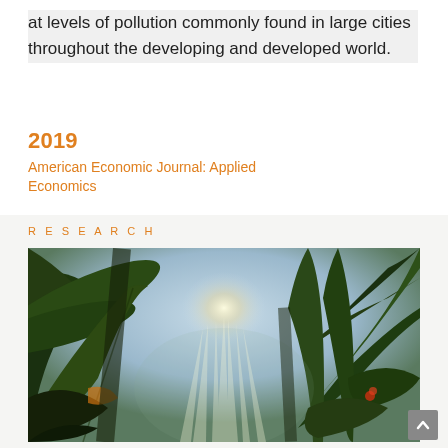at levels of pollution commonly found in large cities throughout the developing and developed world.
2019
American Economic Journal: Applied Economics
RESEARCH
[Figure (photo): Tropical rainforest scene with large banana/palm leaves, sunlight rays streaming through the canopy, lush green vegetation with mist.]